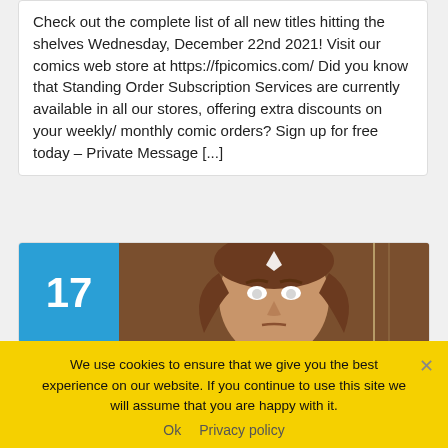Check out the complete list of all new titles hitting the shelves Wednesday, December 22nd 2021! Visit our comics web store at https://fpicomics.com/ Did you know that Standing Order Subscription Services are currently available in all our stores, offering extra discounts on your weekly/ monthly comic orders? Sign up for free today – Private Message [...]
[Figure (illustration): A card showing the number 17 on a blue background on the left, and a stylized illustrated face of a character with white gem on forehead and brown hair on the right.]
We use cookies to ensure that we give you the best experience on our website. If you continue to use this site we will assume that you are happy with it.
Ok   Privacy policy